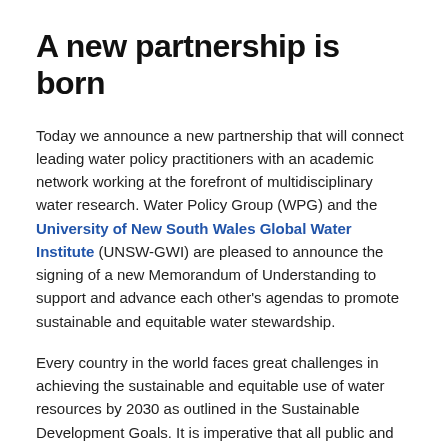A new partnership is born
Today we announce a new partnership that will connect leading water policy practitioners with an academic network working at the forefront of multidisciplinary water research. Water Policy Group (WPG) and the University of New South Wales Global Water Institute (UNSW-GWI) are pleased to announce the signing of a new Memorandum of Understanding to support and advance each other's agendas to promote sustainable and equitable water stewardship.
Every country in the world faces great challenges in achieving the sustainable and equitable use of water resources by 2030 as outlined in the Sustainable Development Goals. It is imperative that all public and private sector organisations and institutions that are active across fresh and marine water resources cooperate and collaborate to identify and deliver appropriate technical